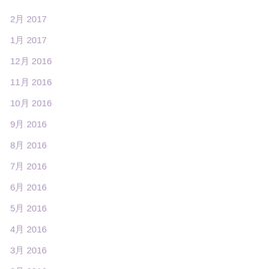2月 2017
1月 2017
12月 2016
11月 2016
10月 2016
9月 2016
8月 2016
7月 2016
6月 2016
5月 2016
4月 2016
3月 2016
2月 2016